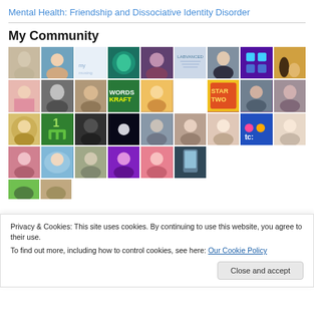Mental Health: Friendship and Dissociative Identity Disorder
My Community
[Figure (photo): Grid of community member avatar photos and icons, arranged in 4+ rows of 9 columns each, showing profile photos, illustrations, and app icons]
Privacy & Cookies: This site uses cookies. By continuing to use this website, you agree to their use.
To find out more, including how to control cookies, see here: Our Cookie Policy